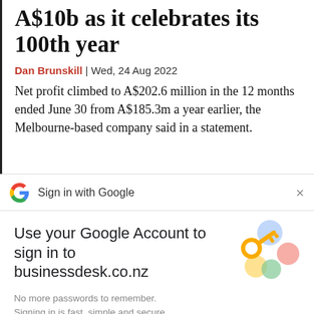A$10b as it celebrates its 100th year
Dan Brunskill | Wed, 24 Aug 2022
Net profit climbed to A$202.6 million in the 12 months ended June 30 from A$185.3m a year earlier, the Melbourne-based company said in a statement.
[Figure (screenshot): Sign in with Google bar with Google multicolor G logo on the left, text 'Sign in with Google', and an X close button on the right]
[Figure (screenshot): Google Account sign-in modal: heading 'Use your Google Account to sign in to businessdesk.co.nz', subtext 'No more passwords to remember. Signing in is fast, simple and secure.', illustration of a key with colorful circles, and a blue Continue button]